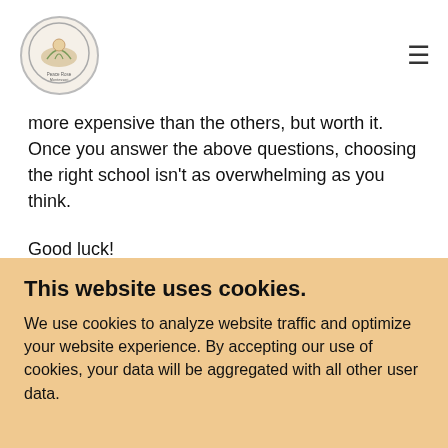Peace Rose Montessori School logo and navigation
more expensive than the others, but worth it. Once you answer the above questions, choosing the right school isn't as overwhelming as you think.
Good luck!
Carmen Melendez
Director/Owner The Peace Rose Montessori School
This website uses cookies.
We use cookies to analyze website traffic and optimize your website experience. By accepting our use of cookies, your data will be aggregated with all other user data.